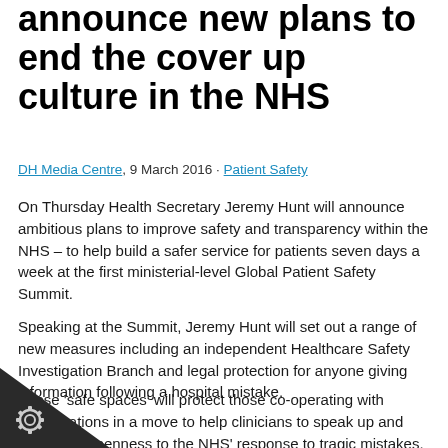announce new plans to end the cover up culture in the NHS
DH Media Centre, 9 March 2016 · Patient Safety
On Thursday Health Secretary Jeremy Hunt will announce ambitious plans to improve safety and transparency within the NHS – to help build a safer service for patients seven days a week at the first ministerial-level Global Patient Safety Summit.
Speaking at the Summit, Jeremy Hunt will set out a range of new measures including an independent Healthcare Safety Investigation Branch and legal protection for anyone giving information following a hospital mistake.
These 'safe spaces' will protect those co-operating with investigations in a move to help clinicians to speak up and bring new openness to the NHS' response to tragic mistakes. Families will get the full truth faster, staff the support and protection to speak out and the NHS will become better at